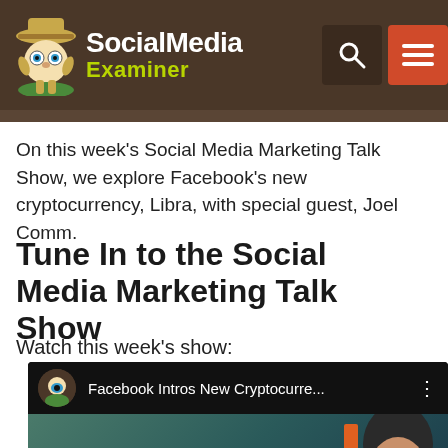Social Media Examiner
On this week’s Social Media Marketing Talk Show, we explore Facebook’s new cryptocurrency, Libra, with special guest, Joel Comm.
Tune In to the Social Media Marketing Talk Show
Watch this week’s show:
[Figure (screenshot): YouTube video embed thumbnail showing 'Facebook Intros New Cryptocurre...' with the Social Media Examiner mascot avatar, video title bar, and a thumbnail showing 'EBOOK' text and a person's face]